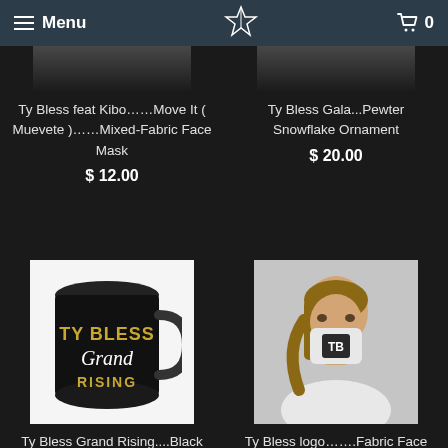Menu | [logo] | Cart 0
[Figure (photo): Partial product image cut off at top, left column]
Ty Bless feat Kibo……Move It ( Muevete )……Mixed-Fabric Face Mask
$ 12.00
[Figure (photo): Partial product image cut off at top, right column]
Ty Bless Gala...Pewter Snowflake Ornament
$ 20.00
[Figure (photo): Ty Bless Grand Rising black mug with gold and white text]
Ty Bless Grand Rising....Black mug 11oz
[Figure (photo): Person wearing white fabric face mask with TB logo]
Ty Bless logo…….Fabric Face Mask